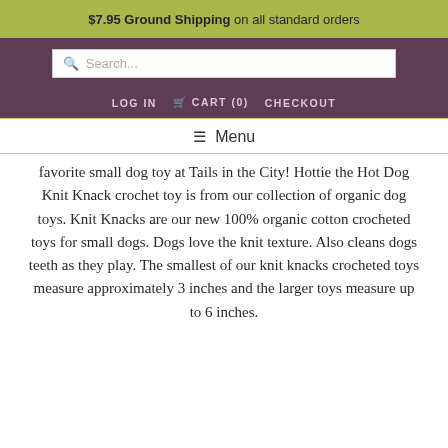$7.95 Ground Shipping on all standard orders
Search...
LOG IN   CART (0)   CHECKOUT
≡ Menu
favorite small dog toy at Tails in the City! Hottie the Hot Dog Knit Knack crochet toy is from our collection of organic dog toys. Knit Knacks are our new 100% organic cotton crocheted toys for small dogs. Dogs love the knit texture. Also cleans dogs teeth as they play. The smallest of our knit knacks crocheted toys measure approximately 3 inches and the larger toys measure up to 6 inches.